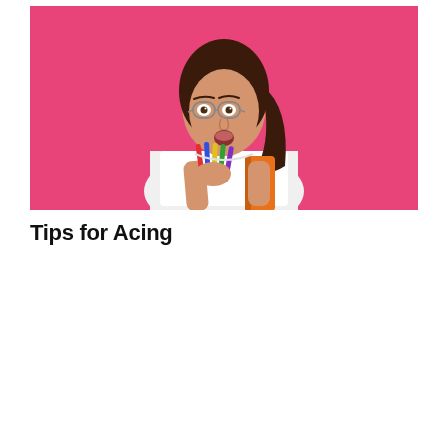[Figure (photo): A young woman with brown hair wearing glasses and a white t-shirt, holding colorful pencils in one hand and an orange book/notebook in the other arm, standing against a bright pink background with a surprised expression on her face.]
Tips for Acing